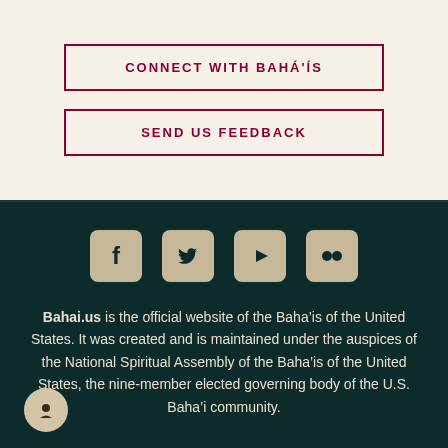CONNECT WITH BAHÁ'ÍS
SEND US FEEDBACK
[Figure (infographic): Social media icons: Facebook, Twitter, YouTube, Flickr displayed as dark tan rounded square buttons on dark teal background]
Bahai.us is the official website of the Baha'is of the United States. It was created and is maintained under the auspices of the National Spiritual Assembly of the Baha'is of the United States, the nine-member elected governing body of the U.S. Baha'i community.